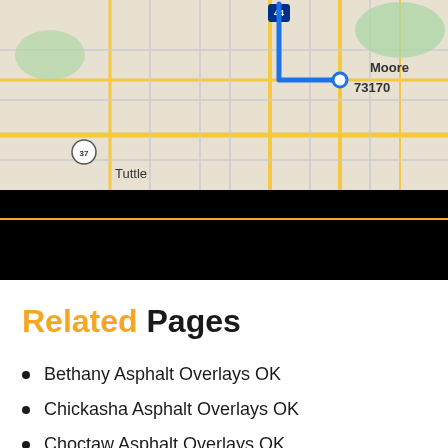[Figure (map): Google Maps showing route near Moore, OK 73170 area, with highway 44 and route 37 visible near Tuttle. A blue route line is shown on the map.]
[Figure (other): Black banner bar with an orange horizontal dividing line]
Related Pages
Bethany Asphalt Overlays OK
Chickasha Asphalt Overlays OK
Choctaw Asphalt Overlays OK
Del City Asphalt Overlays OK